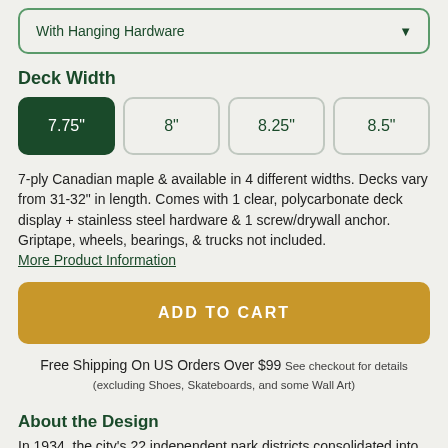With Hanging Hardware
Deck Width
7.75"  8"  8.25"  8.5"
7-ply Canadian maple & available in 4 different widths. Decks vary from 31-32" in length. Comes with 1 clear, polycarbonate deck display + stainless steel hardware & 1 screw/drywall anchor. Griptape, wheels, bearings, & trucks not included. More Product Information
ADD TO CART
Free Shipping On US Orders Over $99 See checkout for details (excluding Shoes, Skateboards, and some Wall Art)
About the Design
In 1934, the city's 22 independent park districts consolidated into a unified Chicago Park District. To this day, from canoeing and ice